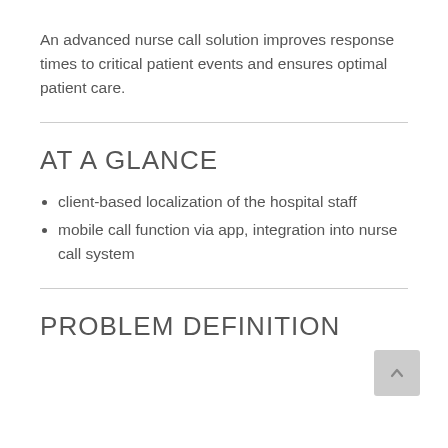An advanced nurse call solution improves response times to critical patient events and ensures optimal patient care.
AT A GLANCE
client-based localization of the hospital staff
mobile call function via app, integration into nurse call system
PROBLEM DEFINITION